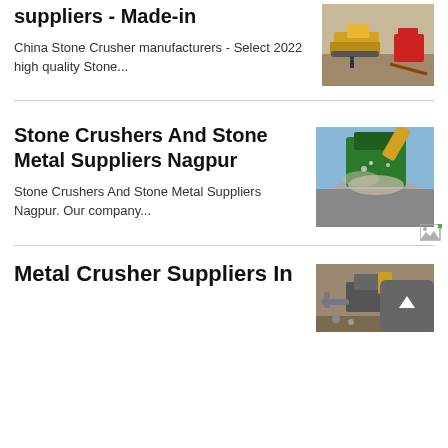suppliers - Made-in
[Figure (photo): Bulldozer/heavy machinery at a quarry or construction site with red equipment visible]
China Stone Crusher manufacturers - Select 2022 high quality Stone...
Stone Crushers And Stone Metal Suppliers Nagpur
[Figure (photo): Stone crusher machine processing gravel/aggregate with dust cloud, yellow excavator arm visible]
Stone Crushers And Stone Metal Suppliers Nagpur. Our company...
[Figure (photo): Broken image icon placeholder]
Metal Crusher Suppliers In
[Figure (photo): Machinery at a mining/crushing site with pipes or equipment visible]